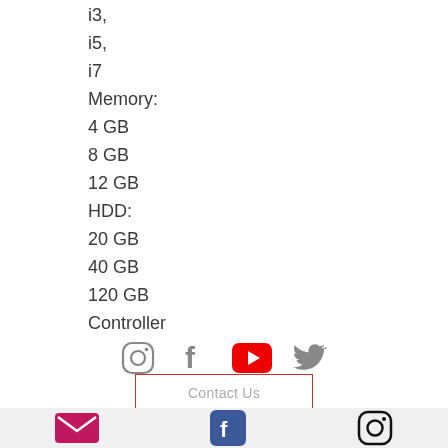i3,
i5,
i7
Memory:
4 GB
8 GB
12 GB
HDD:
20 GB
40 GB
120 GB
Controller
[Figure (infographic): Social media icons: Instagram, Facebook, YouTube (red), Twitter]
Contact Us
[Figure (infographic): Footer bar with email icon (pink/magenta), Facebook icon (blue), Instagram icon (black outline)]